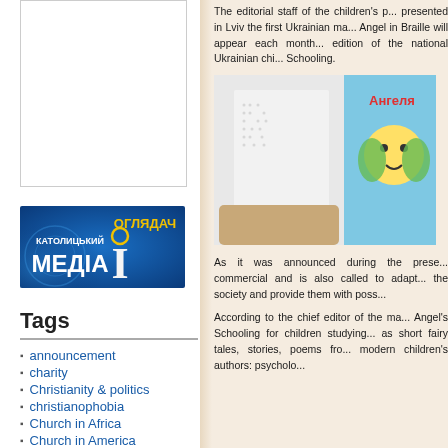[Figure (other): Empty white box/placeholder image in sidebar]
[Figure (logo): Католицький Медіа Оглядач logo - blue background with Ukrainian text]
Tags
announcement
charity
Christianity & politics
christianophobia
Church in Africa
Church in America
The editorial staff of the children's p... presented in Lviv the first Ukrainian ma... Angel in Braille will appear each month... edition of the national Ukrainian chi... Schooling.
[Figure (photo): Photo of a Braille book page being held open alongside a colorful Ukrainian children's magazine cover with Cyrillic text Ангеля]
As it was announced during the prese... commercial and is also called to adapt... the society and provide them with poss...
According to the chief editor of the ma... Angel's Schooling for children studying... as short fairy tales, stories, poems fro... modern children's authors: psycholo...